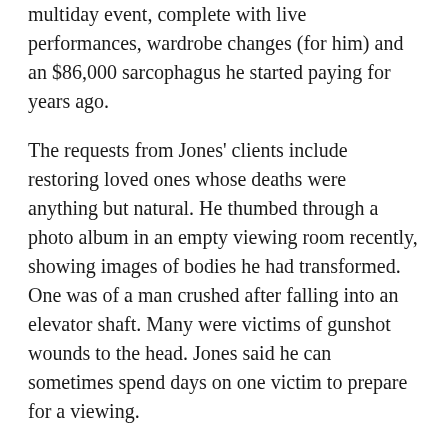multiday event, complete with live performances, wardrobe changes (for him) and an $86,000 sarcophagus he started paying for years ago.
The requests from Jones' clients include restoring loved ones whose deaths were anything but natural. He thumbed through a photo album in an empty viewing room recently, showing images of bodies he had transformed. One was of a man crushed after falling into an elevator shaft. Many were victims of gunshot wounds to the head. Jones said he can sometimes spend days on one victim to prepare for a viewing.
Chrystal Randle, an apprentice who has been working with Jones since August, said Jones is a perfectionist, often handling cases where some funeral directors would simply tell families to have a closed-casket service.